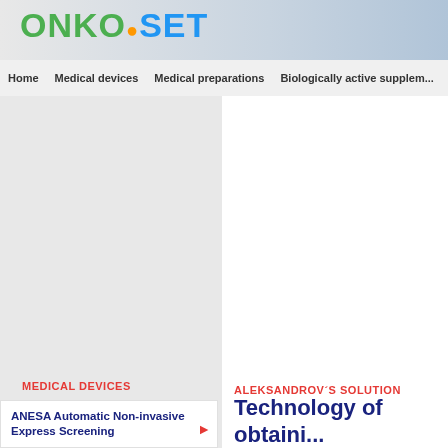[Figure (logo): ONKO.SET logo with green ONKO and blue SET text]
Home   Medical devices   Medical preparations   Biologically active supplem...
MEDICAL DEVICES
ALEKSANDROV´S SOLUTION
ANESA Automatic Non-invasive Express Screening
Technology of obtaini...